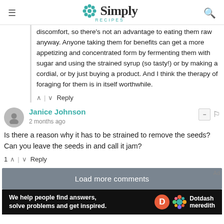Simply Recipes
discomfort, so there's not an advantage to eating them raw anyway. Anyone taking them for benefits can get a more appetizing and concentrated form by fermenting them with sugar and using the strained syrup (so tasty!) or by making a cordial, or by just buying a product. And I think the therapy of foraging for them is in itself worthwhile.
^ | v Reply
Janice Johnson
2 months ago
Is there a reason why it has to be strained to remove the seeds? Can you leave the seeds in and call it jam?
1 ^ | v Reply
Load more comments
[Figure (infographic): Dotdash Meredith advertisement banner: 'We help people find answers, solve problems and get inspired.' with D logo and colorful Dotdash Meredith branding]